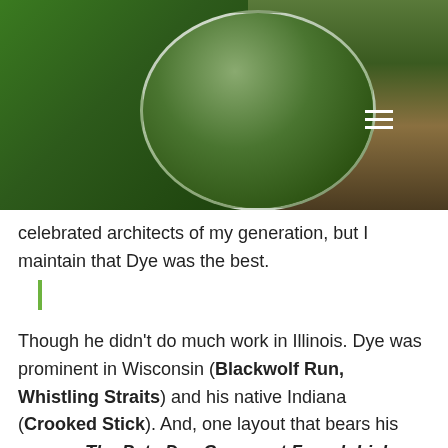[Figure (photo): A composite golf photo showing a green fairway on the left, an oval/circular cutout of a golfer swinging in the center, and a crowd of spectators on the right. Dark green tones throughout.]
celebrated architects of my generation, but I maintain that Dye was the best.
Though he didn't do much work in Illinois. Dye was prominent in Wisconsin (Blackwolf Run, Whistling Straits) and his native Indiana (Crooked Stick). And, one layout that bears his name... The Pete Dye Course at French Lick